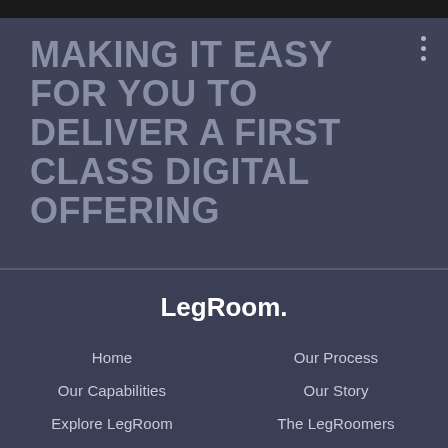MAKING IT EASY FOR YOU TO DELIVER A FIRST CLASS DIGITAL OFFERING
[Figure (logo): LegRoom. logo in white bold text]
Home
Our Process
Our Capabilities
Our Story
Explore LegRoom
The LegRoomers
Request a Quote
Why LegRoom